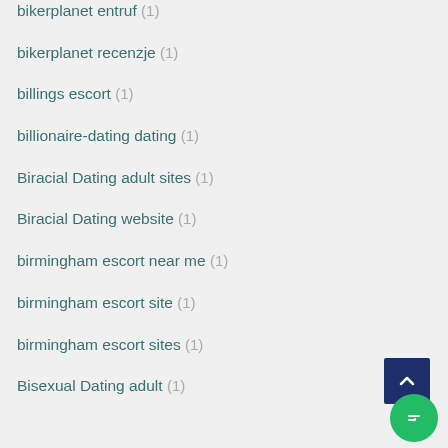bikerplanet entruf (1)
bikerplanet recenzje (1)
billings escort (1)
billionaire-dating dating (1)
Biracial Dating adult sites (1)
Biracial Dating website (1)
birmingham escort near me (1)
birmingham escort site (1)
birmingham escort sites (1)
Bisexual Dating adult (1)